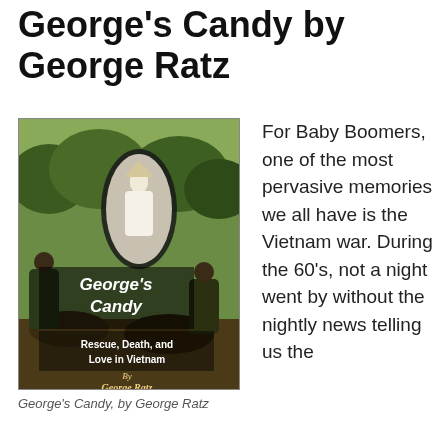George's Candy by George Ratz
[Figure (photo): Book cover of 'George's Candy: Rescue, Death, and Love in Vietnam' by George Ratz, showing a jungle scene with a Vietnamese woman in white ao dai and soldiers]
George's Candy, by George Ratz
For Baby Boomers, one of the most pervasive memories we all have is the Vietnam war. During the 60's, not a night went by without the nightly news telling us the